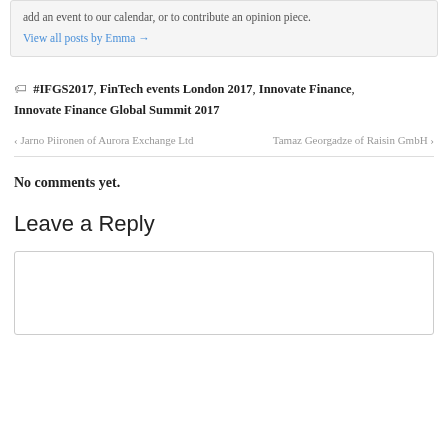add an event to our calendar, or to contribute an opinion piece.
View all posts by Emma →
#IFGS2017, FinTech events London 2017, Innovate Finance, Innovate Finance Global Summit 2017
‹ Jarno Piironen of Aurora Exchange Ltd    Tamaz Georgadze of Raisin GmbH ›
No comments yet.
Leave a Reply